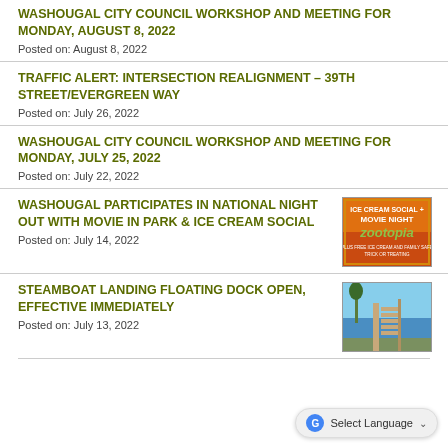WASHOUGAL CITY COUNCIL WORKSHOP AND MEETING FOR MONDAY, AUGUST 8, 2022
Posted on: August 8, 2022
TRAFFIC ALERT: INTERSECTION REALIGNMENT - 39TH STREET/EVERGREEN WAY
Posted on: July 26, 2022
WASHOUGAL CITY COUNCIL WORKSHOP AND MEETING FOR MONDAY, JULY 25, 2022
Posted on: July 22, 2022
WASHOUGAL PARTICIPATES IN NATIONAL NIGHT OUT WITH MOVIE IN PARK & ICE CREAM SOCIAL
[Figure (photo): Ice Cream Social Movie Night - Zootopia event promotional image with orange/red background and green Zootopia logo]
Posted on: July 14, 2022
STEAMBOAT LANDING FLOATING DOCK OPEN, EFFECTIVE IMMEDIATELY
[Figure (photo): Steamboat Landing floating dock with blue sky and water in background]
Posted on: July 13, 2022